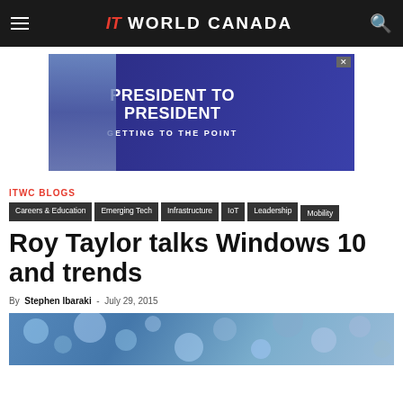IT World Canada
[Figure (illustration): Advertisement banner with text PRESIDENT TO PRESIDENT GETTING TO THE POINT on a dark blue background]
ITWC BLOGS
Careers & Education
Emerging Tech
Infrastructure
IoT
Leadership
Mobility
Roy Taylor talks Windows 10 and trends
By Stephen Ibaraki - July 29, 2015
[Figure (photo): Blue bubbly texture background image]